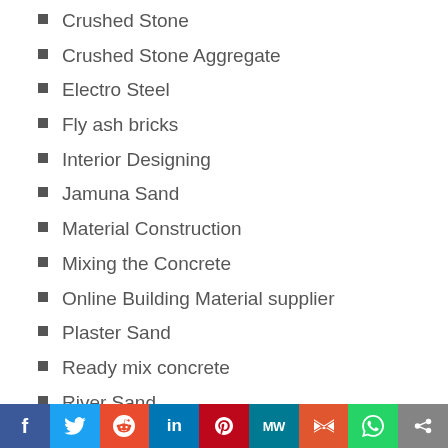Crushed Stone
Crushed Stone Aggregate
Electro Steel
Fly ash bricks
Interior Designing
Jamuna Sand
Material Construction
Mixing the Concrete
Online Building Material supplier
Plaster Sand
Ready mix concrete
River Sand
RMC Supplier
Saria
Stone Dust
TMT Bar